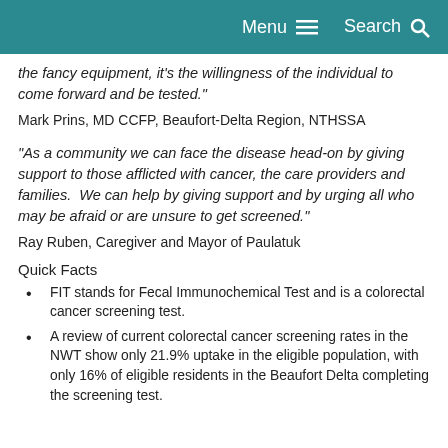Menu  Search
the fancy equipment, it's the willingness of the individual to come forward and be tested."
Mark Prins, MD CCFP, Beaufort-Delta Region, NTHSSA
"As a community we can face the disease head-on by giving support to those afflicted with cancer, the care providers and families.  We can help by giving support and by urging all who may be afraid or are unsure to get screened."
Ray Ruben, Caregiver and Mayor of Paulatuk
Quick Facts
FIT stands for Fecal Immunochemical Test and is a colorectal cancer screening test.
A review of current colorectal cancer screening rates in the NWT show only 21.9% uptake in the eligible population, with only 16% of eligible residents in the Beaufort Delta completing the screening test.